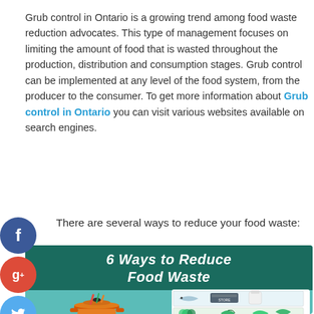Grub control in Ontario is a growing trend among food waste reduction advocates. This type of management focuses on limiting the amount of food that is wasted throughout the production, distribution and consumption stages. Grub control can be implemented at any level of the food system, from the producer to the consumer. To get more information about Grub control in Ontario you can visit various websites available on search engines.
There are several ways to reduce your food waste:
[Figure (infographic): Infographic titled '6 Ways to Reduce Food Waste' on a teal background, showing two panels: 'Cook with scraps' (with a pot and vegetable scraps illustration) and 'Proper storage' (with fish, container, herbs and greens illustration).]